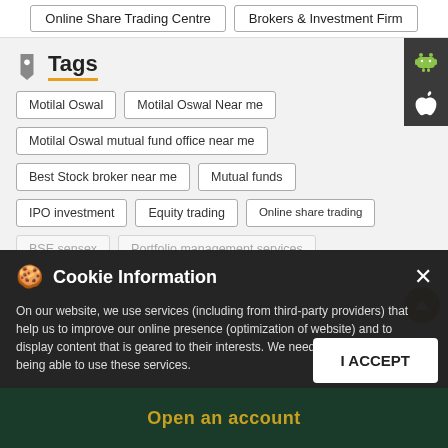Online Share Trading Centre | Brokers & Investment Firm
Tags
Motilal Oswal
Motilal Oswal Near me
Motilal Oswal mutual fund office near me
Best Stock broker near me
Mutual funds
IPO investment
Equity trading
Online share trading
BSE sensex
Portfolio management services
Investment bonds
Best SIP plans
Best mutual funds for SIP
Commodity market
Currency market
Open demat account
Online trading account
Open trading account
Cookie Information
On our website, we use services (including from third-party providers) that help us to improve our online presence (optimization of website) and to display content that is geared to their interests. We need your consent before being able to use these services.
I ACCEPT
Open an account